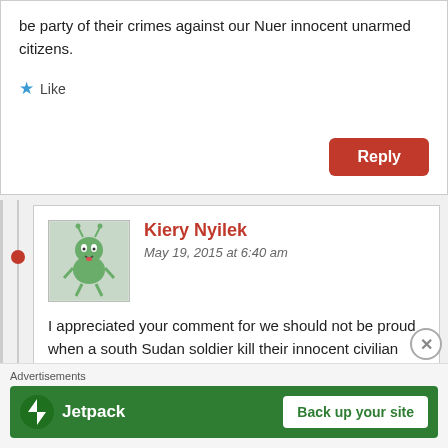be party of their crimes against our Nuer innocent unarmed citizens.
Like
Reply
Kiery Nyilek
May 19, 2015 at 6:40 am
I appreciated your comment for we should not be proud when a south Sudan soldier kill their innocent civilian because of tribalism. The best thing that we should be doing on this forum
Advertisements
[Figure (screenshot): Jetpack advertisement banner with green background, Jetpack logo and 'Back up your site' button]